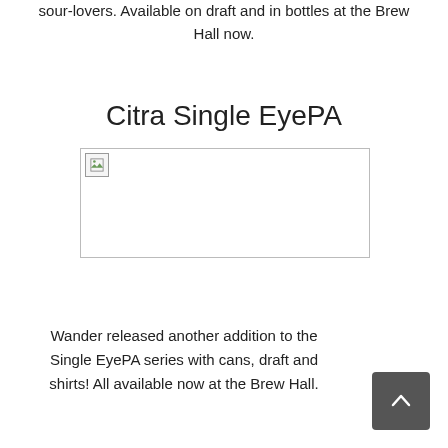sour-lovers. Available on draft and in bottles at the Brew Hall now.
Citra Single EyePA
[Figure (photo): Broken/missing image placeholder with small icon in top-left corner, outlined with a thin border]
Wander released another addition to the Single EyePA series with cans, draft and shirts! All available now at the Brew Hall.